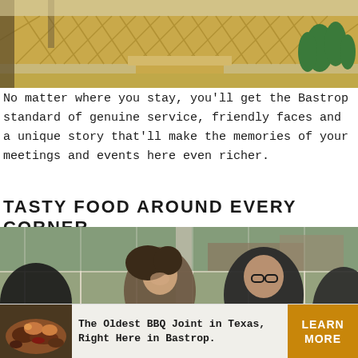[Figure (photo): Outdoor deck area of a lodging or event venue with yellow lattice fencing, wooden steps, and green tropical plants in the background]
No matter where you stay, you'll get the Bastrop standard of genuine service, friendly faces and a unique story that'll make the memories of your meetings and events here even richer.
TASTY FOOD AROUND EVERY CORNER
[Figure (photo): Two people dining at a restaurant near large windows. A woman with curly hair is laughing and eating, and a man with glasses sits beside her. Other diners visible in background.]
close ✕
The Oldest BBQ Joint in Texas, Right Here in Bastrop.
LEARN MORE